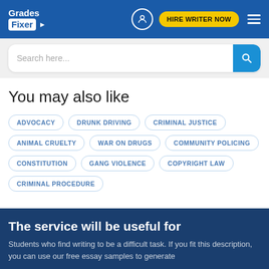Grades Fixer — HIRE WRITER NOW
Search here...
You may also like
ADVOCACY
DRUNK DRIVING
CRIMINAL JUSTICE
ANIMAL CRUELTY
WAR ON DRUGS
COMMUNITY POLICING
CONSTITUTION
GANG VIOLENCE
COPYRIGHT LAW
CRIMINAL PROCEDURE
The service will be useful for
Students who find writing to be a difficult task. If you fit this description, you can use our free essay samples to generate